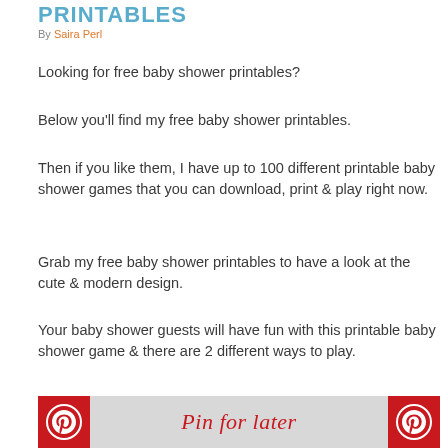PRINTABLES
By Saira Perl
Looking for free baby shower printables?
Below you'll find my free baby shower printables.
Then if you like them, I have up to 100 different printable baby shower games that you can download, print & play right now.
Grab my free baby shower printables to have a look at the cute & modern design.
Your baby shower guests will have fun with this printable baby shower game & there are 2 different ways to play.
[Figure (other): Pinterest 'Pin for later' button bar with two Pinterest logo icons on either side and cursive 'Pin for later' text in the center on a gray background]